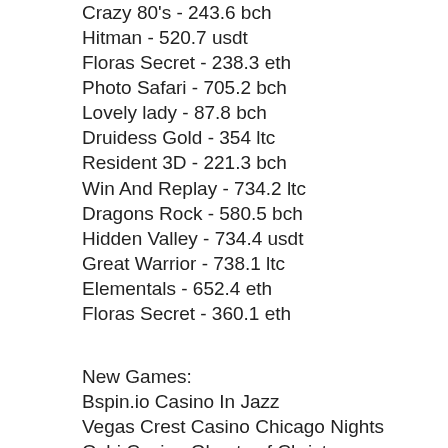Crazy 80's - 243.6 bch
Hitman - 520.7 usdt
Floras Secret - 238.3 eth
Photo Safari - 705.2 bch
Lovely lady - 87.8 bch
Druidess Gold - 354 ltc
Resident 3D - 221.3 bch
Win And Replay - 734.2 ltc
Dragons Rock - 580.5 bch
Hidden Valley - 734.4 usdt
Great Warrior - 738.1 ltc
Elementals - 652.4 eth
Floras Secret - 360.1 eth
New Games:
Bspin.io Casino In Jazz
Vegas Crest Casino Chicago Nights
Oshi Casino Ghosts of Christmas
Cloudbet Casino Moon Rabbit
BitcoinCasino.us The Slotfather 2
Bspin.io Casino Flying Colors